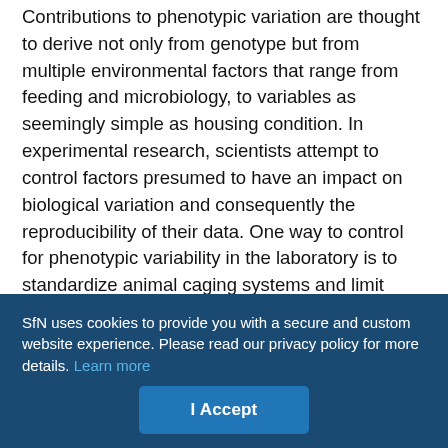Contributions to phenotypic variation are thought to derive not only from genotype but from multiple environmental factors that range from feeding and microbiology, to variables as seemingly simple as housing condition. In experimental research, scientists attempt to control factors presumed to have an impact on biological variation and consequently the reproducibility of their data. One way to control for phenotypic variability in the laboratory is to standardize animal caging systems and limit environmental complexity. Environmental enrichment (EE) is one form of complexity that includes physical, sensory, cognitive, and/or social stimulation which provides an enhanced living experience to laboratory animals, relative to standard housing conditions. The use of EE has become prominent in neuroscience, because of substantial evidence that EE influences structural and functional changes in the brain in addition to
SfN uses cookies to provide you with a secure and custom website experience. Please read our privacy policy for more details. Learn more
I Accept